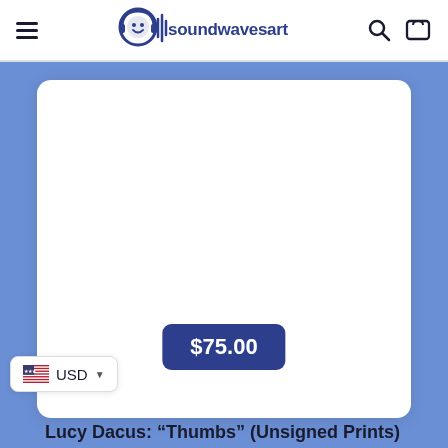soundwavesart
[Figure (screenshot): Product page screenshot showing a white product card on a blue background. The card contains a blank white image area, a dark blue price badge showing $75.00, and product title text. A currency selector (USD) is visible in the bottom left corner.]
$75.00
Lucy Dacus: “Thumbs” (Unsigned Prints)